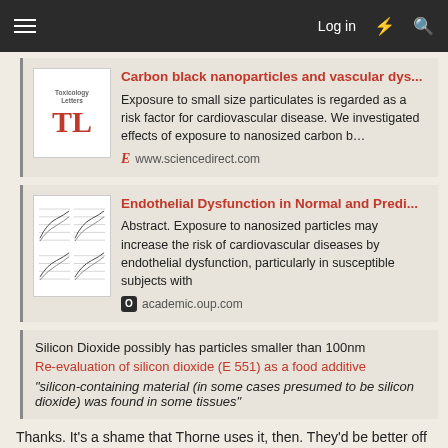Log in
Carbon black nanoparticles and vascular dys...
Exposure to small size particulates is regarded as a risk factor for cardiovascular disease. We investigated effects of exposure to nanosized carbon b…
www.sciencedirect.com
Endothelial Dysfunction in Normal and Predi...
Abstract. Exposure to nanosized particles may increase the risk of cardiovascular diseases by endothelial dysfunction, particularly in susceptible subjects with
academic.oup.com
Silicon Dioxide possibly has particles smaller than 100nm
Re-evaluation of silicon dioxide (E 551) as a food additive
"silicon-containing material (in some cases presumed to be silicon dioxide) was found in some tissues"
Thanks. It's a shame that Thorne uses it, then. They'd be better off using organic rice flour as a filler or even magnesium stearate,